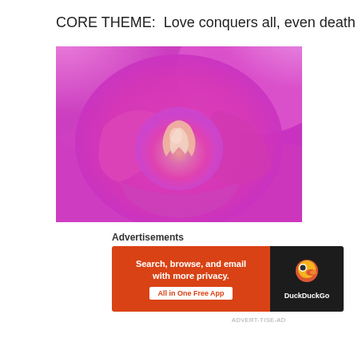CORE THEME:  Love conquers all, even death
[Figure (photo): Close-up macro photograph of a pink rose in full bloom, showing layered petals with vibrant magenta and soft pink tones converging toward the center of the flower.]
Advertisements
[Figure (screenshot): DuckDuckGo advertisement banner. Left orange panel reads 'Search, browse, and email with more privacy.' and 'All in One Free App'. Right black panel shows the DuckDuckGo duck logo and 'DuckDuckGo' text in white.]